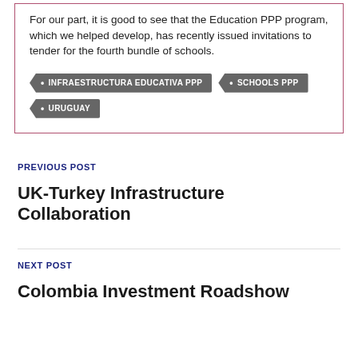For our part, it is good to see that the Education PPP program, which we helped develop, has recently issued invitations to tender for the fourth bundle of schools.
INFRAESTRUCTURA EDUCATIVA PPP
SCHOOLS PPP
URUGUAY
PREVIOUS POST
UK-Turkey Infrastructure Collaboration
NEXT POST
Colombia Investment Roadshow